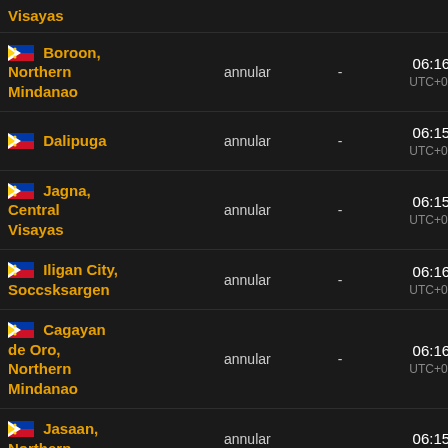| City | Type |  | Time | Pop |
| --- | --- | --- | --- | --- |
| Visayas |  |  |  |  |
| Boroon, Northern Mindanao | annular | - | 06:16:00 UTC+08:00 | 96 k |
| Dalipuga | annular | - | 06:15:57 UTC+08:00 | 80 k |
| Jagna, Central Visayas | annular | - | 06:15:21 UTC+08:00 | 69 k |
| Iligan City, Soccsksargen | annular | - | 06:16:02 UTC+08:00 | 84 k |
| Cagayan de Oro, Northern Mindanao | annular | - | 06:16:00 UTC+08:00 | 54 k |
| Jasaan, Northern | annular |  | 06:15:57 | 33 k |